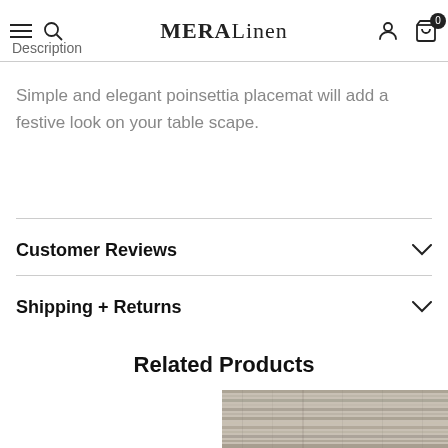MERA Linen — navigation bar with hamburger menu, search icon, user icon, cart (0)
Description
Simple and elegant poinsettia placemat will add a festive look on your table scape.
Customer Reviews
Shipping + Returns
Related Products
[Figure (photo): Partial product photo visible at bottom right — textured grey/beige woven fabric or mat]